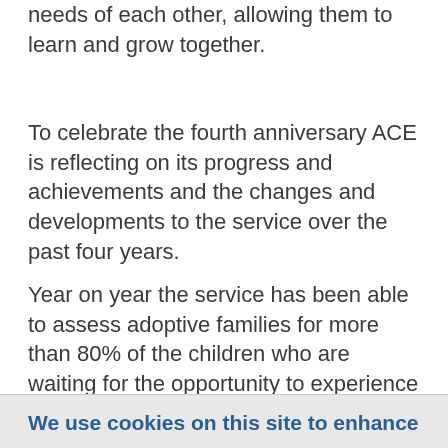needs of each other, allowing them to learn and grow together.
To celebrate the fourth anniversary ACE is reflecting on its progress and achievements and the changes and developments to the service over the past four years.
Year on year the service has been able to assess adoptive families for more than 80% of the children who are waiting for the opportunity to experience long term care and stability in an adoptive family.
As the first adoptive agency to become
We use cookies on this site to enhance